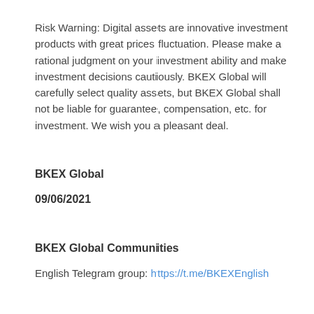Risk Warning: Digital assets are innovative investment products with great prices fluctuation. Please make a rational judgment on your investment ability and make investment decisions cautiously. BKEX Global will carefully select quality assets, but BKEX Global shall not be liable for guarantee, compensation, etc. for investment. We wish you a pleasant deal.
BKEX Global
09/06/2021
BKEX Global Communities
English Telegram group: https://t.me/BKEXEnglish